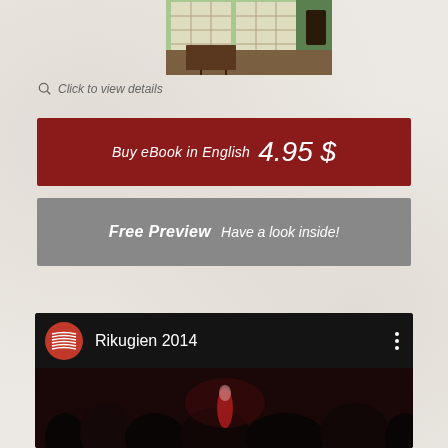[Figure (photo): Partial view of a Japanese-style room with shoji screens and wooden furniture, cropped at top]
Click to view details
Buy eBook in English  4.95 $
Free Preview  Have a look inside!
[Figure (screenshot): Video card for Rikugien 2014 with YouTube-style logo and crowd image in background]